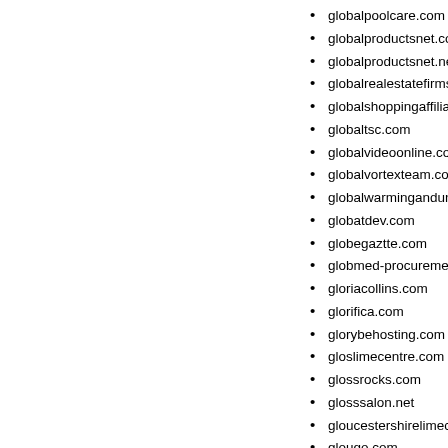globalpoolcare.com
globalproductsnet.com
globalproductsnet.net
globalrealestatefirms.com
globalshoppingaffiliate.com
globaltsc.com
globalvideoonline.com
globalvortexteam.com
globalwarmingandunicorns.c
globatdev.com
globegaztte.com
globmed-procurement.com
gloriacollins.com
glorifica.com
glorybehosting.com
gloslimecentre.com
glossrocks.com
glosssalon.net
gloucestershirelimecentre.co
glougo.com
gloveboxmarketing.com
gloveboxmarketing.net
gloveboxpromotions.com
gloveboxpromotions.net
glycoligand.com
glynnbebee.com
gmphome.com
gmprices.com